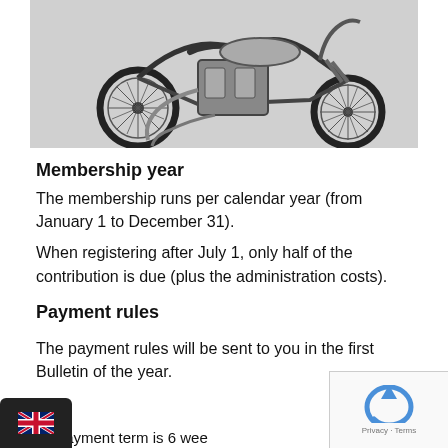[Figure (photo): Black and white photograph of a vintage/classic motorcycle (chopper style) viewed from the left side, showing engine, frame, and large spoked wheels against a light gray background.]
Membership year
The membership runs per calendar year (from January 1 to December 31).
When registering after July 1, only half of the contribution is due (plus the administration costs).
Payment rules
The payment rules will be sent to you in the first Bulletin of the year.
he payment term is 6 wee…